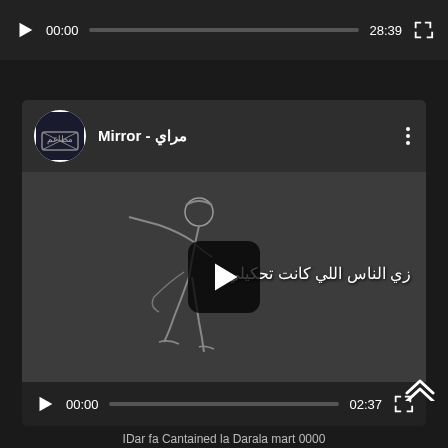[Figure (screenshot): Top video player showing play button, timestamp 00:00, progress bar, duration 28:39, and fullscreen button on dark background]
[Figure (screenshot): Second YouTube-style video player with channel avatar, title 'Mirror - مراي', three-dot menu, animated video thumbnail with Arabic lyrics text 'زي الناس اللي كانت تحكيلي', play button overlay, and controls showing 00:00 / 02:37]
[Figure (screenshot): Scroll-up chevron button at bottom right corner of page]
IDar fa Cantained la Darala mart 0000